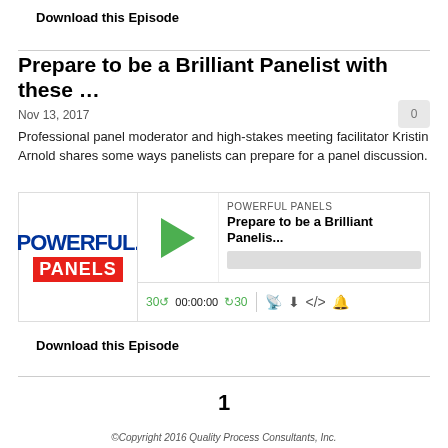Download this Episode
Prepare to be a Brilliant Panelist with these …
Nov 13, 2017
Professional panel moderator and high-stakes meeting facilitator Kristin Arnold shares some ways panelists can prepare for a panel discussion.
[Figure (screenshot): Powerful Panels podcast player widget showing logo, play button, episode title 'Prepare to be a Brilliant Panelis...', progress bar, and playback controls (30 back, 00:00:00, forward 30, RSS, download, embed, share icons)]
Download this Episode
1
©Copyright 2016 Quality Process Consultants, Inc.